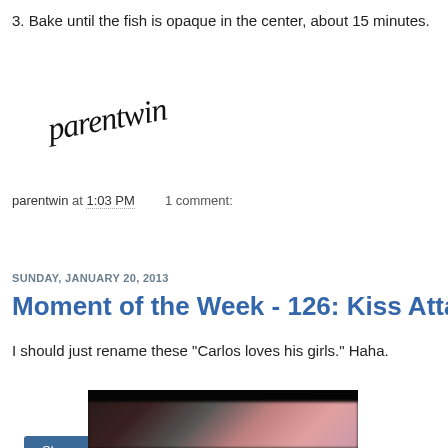3. Bake until the fish is opaque in the center, about 15 minutes.
[Figure (logo): Handwritten-style 'parentwin' logo in cursive black text, slightly rotated upward]
parentwin at 1:03 PM    1 comment:
Share
SUNDAY, JANUARY 20, 2013
Moment of the Week - 126: Kiss Attack!
I should just rename these "Carlos loves his girls." Haha.
[Figure (photo): Dark photo showing people, partially visible, with blurred figures]